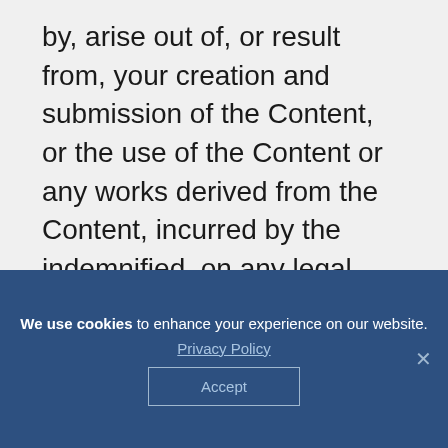by, arise out of, or result from, your creation and submission of the Content, or the use of the Content or any works derived from the Content, incurred by the indemnified, on any legal theory whatsoever, including without limitation, claims for copyright, invasion of privacy, and defamation.
9. Monitoring. We strive to provide an enjoyable online experience for our users.
We use cookies to enhance your experience on our website.
Privacy Policy
Accept